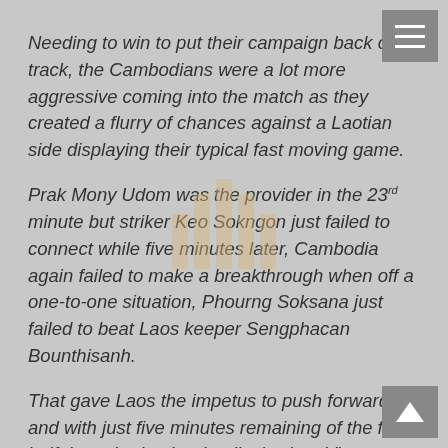Needing to win to put their campaign back on track, the Cambodians were a lot more aggressive coming into the match as they created a flurry of chances against a Laotian side displaying their typical fast moving game.
Prak Mony Udom was the provider in the 23rd minute but striker Keo Sokngon just failed to connect while five minutes later, Cambodia again failed to make a breakthrough when off a one-to-one situation, Phourng Soksana just failed to beat Laos keeper Sengphacan Bounthisanh.
That gave Laos the impetus to push forward and with just five minutes remaining of the first half, Laos broke the deadlock when Visay capitalised on the mistake from Cambodia gaolie Sou Taty to score.